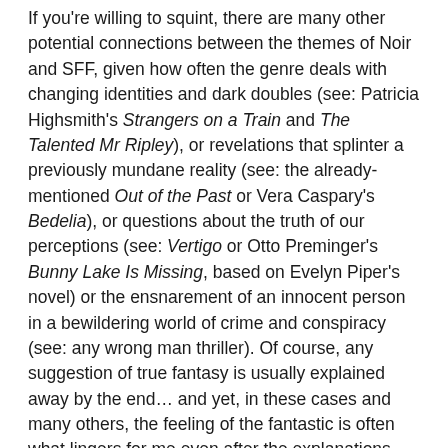If you're willing to squint, there are many other potential connections between the themes of Noir and SFF, given how often the genre deals with changing identities and dark doubles (see: Patricia Highsmith's Strangers on a Train and The Talented Mr Ripley), or revelations that splinter a previously mundane reality (see: the already-mentioned Out of the Past or Vera Caspary's Bedelia), or questions about the truth of our perceptions (see: Vertigo or Otto Preminger's Bunny Lake Is Missing, based on Evelyn Piper's novel) or the ensnarement of an innocent person in a bewildering world of crime and conspiracy (see: any wrong man thriller). Of course, any suggestion of true fantasy is usually explained away by the end… and yet, in these cases and many others, the feeling of the fantastic is often what lingers for me even after the explanations have been given, only heightened by the carefully-drawn reality with which it coexists.
Fábio: The Expanse has already been mentioned here, and, though I'm really enjoying the series (haven't got to the books yet), its contribution to the Noir subgenre is basically the archetype of the sad, broken gumshoe, but this time in space, hinting at other dimensions of craft for it, but in M...